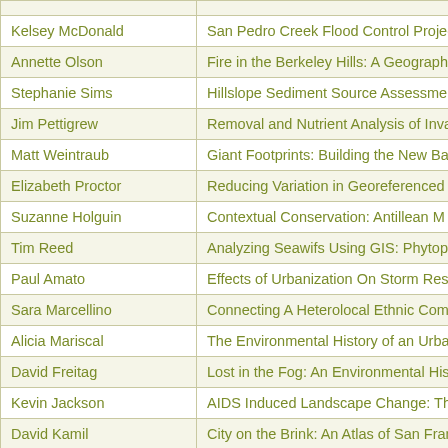| Name | Project Title |
| --- | --- |
| Kelsey McDonald | San Pedro Creek Flood Control Projec… |
| Annette Olson | Fire in the Berkeley Hills: A Geographi… |
| Stephanie Sims | Hillslope Sediment Source Assessment… |
| Jim Pettigrew | Removal and Nutrient Analysis of Inva… |
| Matt Weintraub | Giant Footprints: Building the New Ba… |
| Elizabeth Proctor | Reducing Variation in Georeferenced I… |
| Suzanne Holguin | Contextual Conservation: Antillean M… |
| Tim Reed | Analyzing Seawifs Using GIS: Phytopla… |
| Paul Amato | Effects of Urbanization On Storm Resp… |
| Sara Marcellino | Connecting A Heterolocal Ethnic Com… |
| Alicia Mariscal | The Environmental History of an Urba… |
| David Freitag | Lost in the Fog: An Environmental Hist… |
| Kevin Jackson | AIDS Induced Landscape Change: The… |
| David Kamil | City on the Brink: An Atlas of San Fran… |